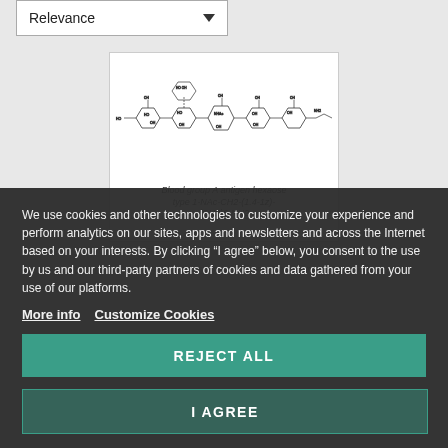Relevance
[Figure (schematic): Chemical structure diagram of Blood group A antigen hexaose type 1-NAc-CH2-(1.4-1z)-(CH2)6-NH2]
Blood group A antigen hexaose type 1-NAc-CH2-(1.4-1z)-(CH2)6-NH2
We use cookies and other technologies to customize your experience and perform analytics on our sites, apps and newsletters and across the Internet based on your interests. By clicking “I agree” below, you consent to the use by us and our third-party partners of cookies and data gathered from your use of our platforms.
More info   Customize Cookies
REJECT ALL
I AGREE